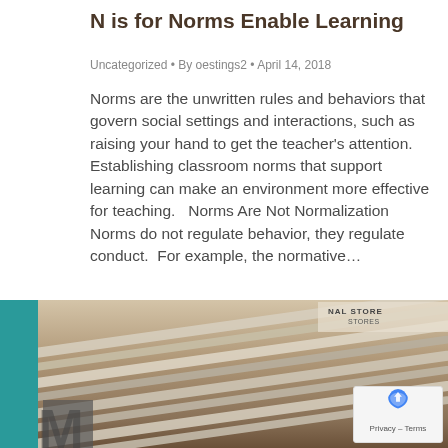N is for Norms Enable Learning
Uncategorized • By oestings2 • April 14, 2018
Norms are the unwritten rules and behaviors that govern social settings and interactions, such as raising your hand to get the teacher's attention.  Establishing classroom norms that support learning can make an environment more effective for teaching.   Norms Are Not Normalization   Norms do not regulate behavior, they regulate conduct.  For example, the normative…
[Figure (photo): Photo of pencils/rulers laid out on a surface with a teal bar on the left side and a partial store sign visible at the top right. A privacy badge with reCAPTCHA icon is overlaid in the bottom right corner.]